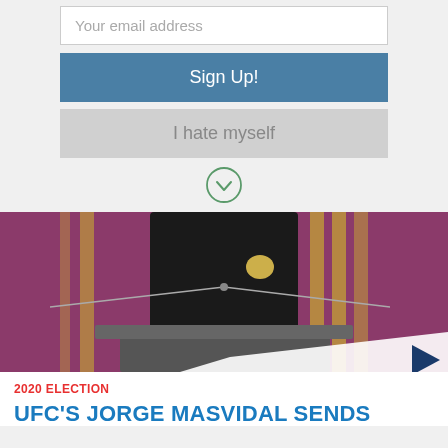Your email address
Sign Up!
I hate myself
[Figure (photo): Person at a podium with microphone stands, wearing a black Adidas jacket, in front of a purple/magenta background with gold vertical elements]
2020 ELECTION
UFC'S JORGE MASVIDAL SENDS